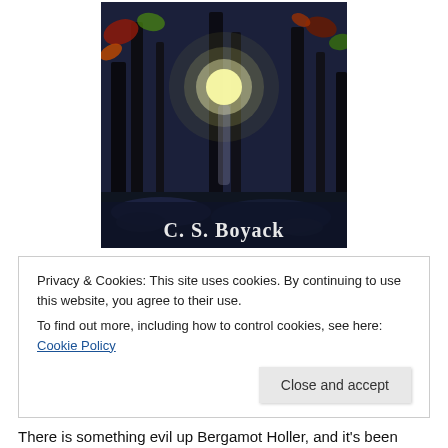[Figure (illustration): Book cover illustration showing a dark forest at night with glowing light among trees, autumn leaves visible. Author name 'C. S. Boyack' displayed at bottom of image.]
Privacy & Cookies: This site uses cookies. By continuing to use this website, you agree to their use.
To find out more, including how to control cookies, see here: Cookie Policy
Close and accept
There is something evil up Bergamot Holler, and it's been